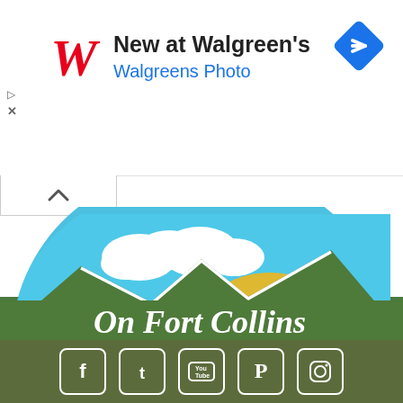[Figure (logo): Walgreens ad banner with red cursive W logo, text 'New at Walgreen's' and 'Walgreens Photo' in blue, and a blue diamond navigation icon top right]
[Figure (logo): On Fort Collins logo: semicircular sky with blue sky, white clouds, golden sun, green mountain silhouette, white cursive text 'On Fort Collins']
[Figure (infographic): Social media icons bar: Facebook, Twitter, YouTube, Pinterest, Instagram in white on olive/dark green background]